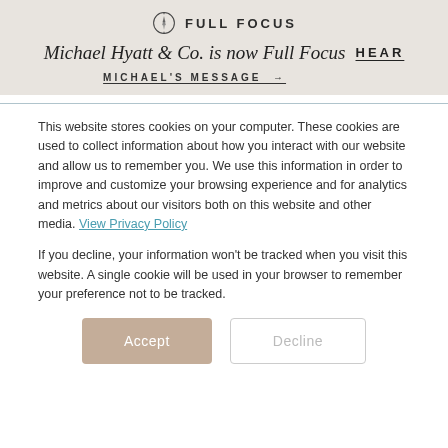[Figure (logo): Full Focus compass logo with circular border and needle]
Michael Hyatt & Co. is now Full Focus HEAR MICHAEL'S MESSAGE →
This website stores cookies on your computer. These cookies are used to collect information about how you interact with our website and allow us to remember you. We use this information in order to improve and customize your browsing experience and for analytics and metrics about our visitors both on this website and other media. View Privacy Policy
If you decline, your information won't be tracked when you visit this website. A single cookie will be used in your browser to remember your preference not to be tracked.
Accept  Decline